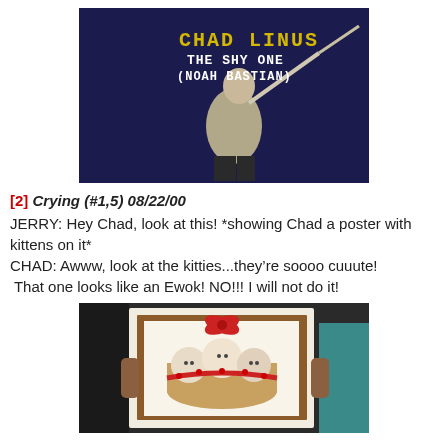[Figure (screenshot): Video still showing a man in a white shirt swinging a stick/staff against a dark blue background, with on-screen text reading CHAD LINUS THE SHY ONE (NOAH BASTIAN)]
[2] Crying (#1,5) 08/22/00
JERRY: Hey Chad, look at this! *showing Chad a poster with kittens on it*
CHAD: Awww, look at the kitties...they're soooo cuuute! That one looks like an Ewok! NO!!! I will not do it!
[Figure (photo): Photo of a kitten poster/picture being held, showing multiple kittens in a basket with red polka dot bow decoration]